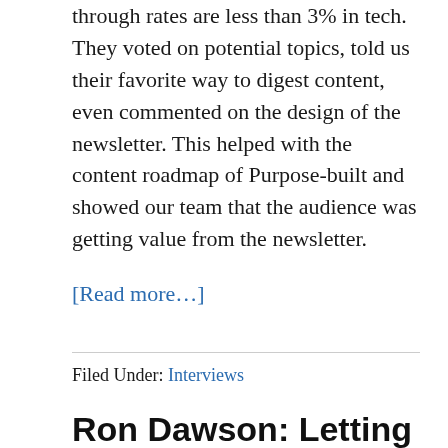through rates are less than 3% in tech. They voted on potential topics, told us their favorite way to digest content, even commented on the design of the newsletter. This helped with the content roadmap of Purpose-built and showed our team that the audience was getting value from the newsletter.
[Read more…]
Filed Under: Interviews
Ron Dawson: Letting go of personal taste in favor of